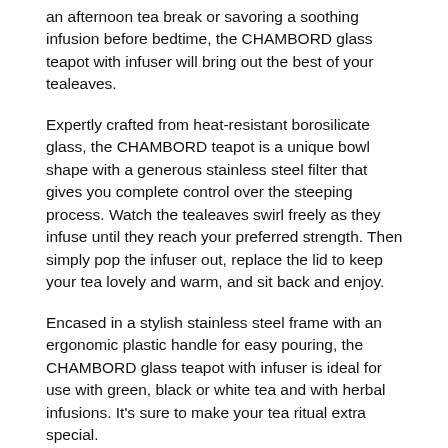an afternoon tea break or savoring a soothing infusion before bedtime, the CHAMBORD glass teapot with infuser will bring out the best of your tealeaves.
Expertly crafted from heat-resistant borosilicate glass, the CHAMBORD teapot is a unique bowl shape with a generous stainless steel filter that gives you complete control over the steeping process. Watch the tealeaves swirl freely as they infuse until they reach your preferred strength. Then simply pop the infuser out, replace the lid to keep your tea lovely and warm, and sit back and enjoy.
Encased in a stylish stainless steel frame with an ergonomic plastic handle for easy pouring, the CHAMBORD glass teapot with infuser is ideal for use with green, black or white tea and with herbal infusions. It's sure to make your tea ritual extra special.
Main Features & Benefits: